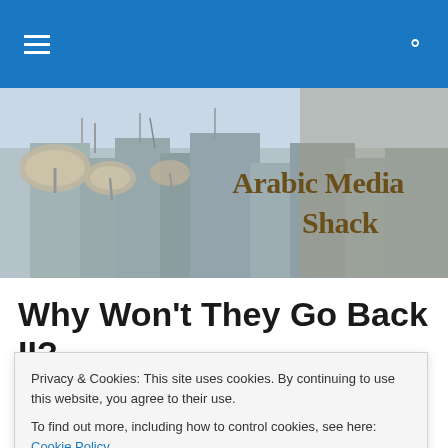Arabic Media Shack — navigation bar with hamburger menu and search icon
[Figure (photo): Banner photo of rooftop satellite dishes and urban buildings with overlay text 'Arabic Media Shack' in gold serif font]
Why Won't They Go Back II?
Privacy & Cookies: This site uses cookies. By continuing to use this website, you agree to their use.
To find out more, including how to control cookies, see here: Cookie Policy
Close and accept
the security gains in Anbar province  are in jeopardy.  High